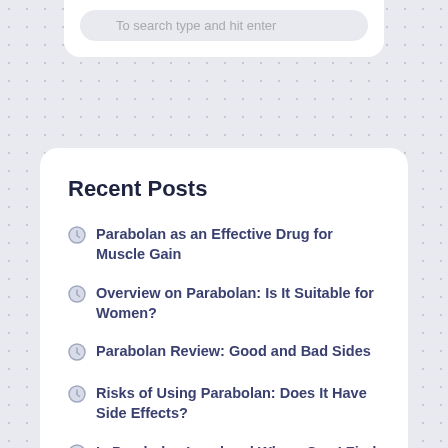Recent Posts
Parabolan as an Effective Drug for Muscle Gain
Overview on Parabolan: Is It Suitable for Women?
Parabolan Review: Good and Bad Sides
Risks of Using Parabolan: Does It Have Side Effects?
Is Parabolan Legal and Where Can I Find It?